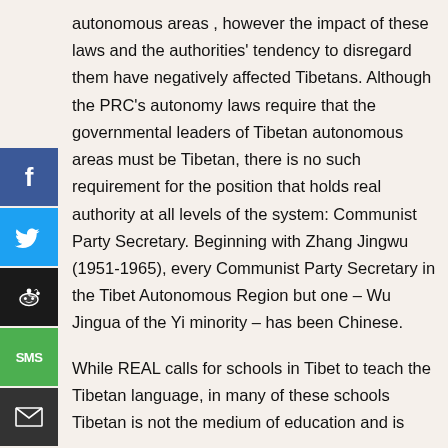autonomous areas , however the impact of these laws and the authorities' tendency to disregard them have negatively affected Tibetans. Although the PRC's autonomy laws require that the governmental leaders of Tibetan autonomous areas must be Tibetan, there is no such requirement for the position that holds real authority at all levels of the system: Communist Party Secretary. Beginning with Zhang Jingwu (1951-1965), every Communist Party Secretary in the Tibet Autonomous Region but one – Wu Jingua of the Yi minority – has been Chinese.
While REAL calls for schools in Tibet to teach the Tibetan language, in many of these schools Tibetan is not the medium of education and is
[Figure (other): Social media sharing buttons: Facebook (blue), Twitter (light blue), Reddit (dark/black), SMS (green), Email (dark gray)]